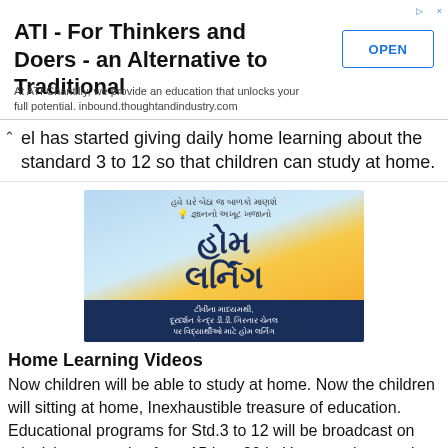[Figure (other): Advertisement banner: ATI - For Thinkers and Doers - an Alternative to Traditional. At ATI Chantilly, we provide an education that unlocks your full potential. inbound.thoughtandindustry.com. OPEN button.]
el has started giving daily home learning about the standard 3 to 12 so that children can study at home.
[Figure (illustration): Home Learning promotional image in Gujarati script. Text reads: હવે ઘરે બેઠા જ બાળકો માણશે જ્ઞાનનો અખૂટ ખજાનો. Large Gujarati text: હોમ લર્નિંગ. Bottom dark bar text: ટીવીના માધ્યમથી, દૂરદર્શન કેન્દ્ર ડી.ડી. ગિરનાર ચેનલ પર વિદ્યાર્થીઓ માટે હોમ લર્નિંગ]
Home Learning Videos
Now children will be able to study at home. Now the children will sitting at home, Inexhaustible treasure of education. Educational programs for Std.3 to 12 will be broadcast on television every day from 15th to 20th. You can also watch these videos in Diksha App & Gujarat e-class Youtube chanel